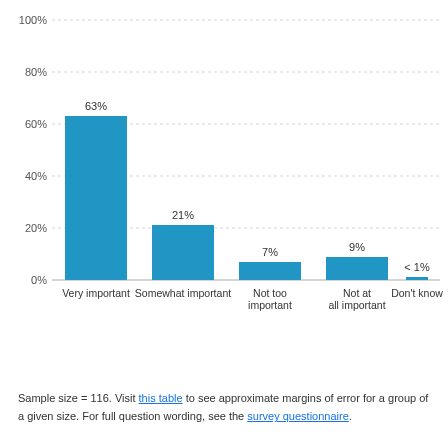[Figure (bar-chart): ]
Sample size = 116. Visit this table to see approximate margins of error for a group of a given size. For full question wording, see the survey questionnaire.